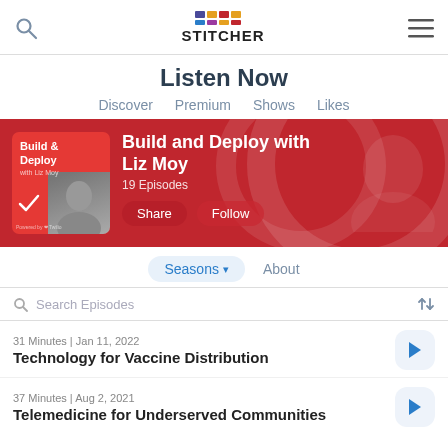Stitcher – Listen Now
Listen Now
Discover  Premium  Shows  Likes
[Figure (screenshot): Red banner featuring 'Build and Deploy with Liz Moy' podcast artwork and info, with Share and Follow buttons]
Seasons ▾   About
Search Episodes
31 Minutes | Jan 11, 2022
Technology for Vaccine Distribution
37 Minutes | Aug 2, 2021
Telemedicine for Underserved Communities